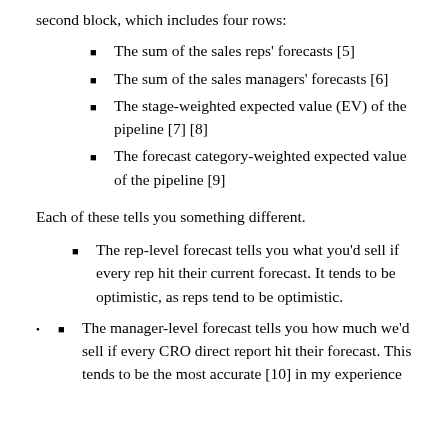second block, which includes four rows:
The sum of the sales reps' forecasts [5]
The sum of the sales managers' forecasts [6]
The stage-weighted expected value (EV) of the pipeline [7] [8]
The forecast category-weighted expected value of the pipeline [9]
Each of these tells you something different.
The rep-level forecast tells you what you'd sell if every rep hit their current forecast.  It tends to be optimistic, as reps tend to be optimistic.
The manager-level forecast tells you how much we'd sell if every CRO direct report hit their forecast.  This tends to be the most accurate [10] in my experience